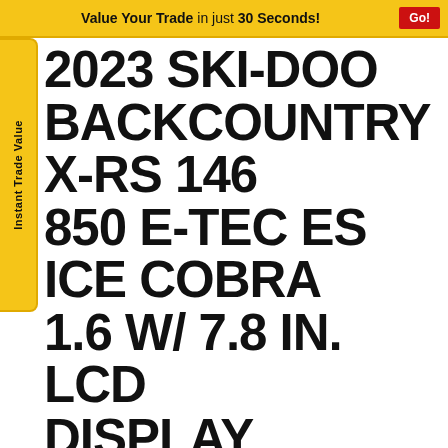Value Your Trade in just 30 Seconds! Go!
2023 SKI-DOO BACKCOUNTRY X-RS 146 850 E-TEC ES ICE COBRA 1.6 W/ 7.8 IN. LCD DISPLAY
New Snowmobiles • Backcountry
CALL NOW
MSRP $16,699
[Figure (photo): Snowmobile product photo with SPRING ONLY badge overlay]